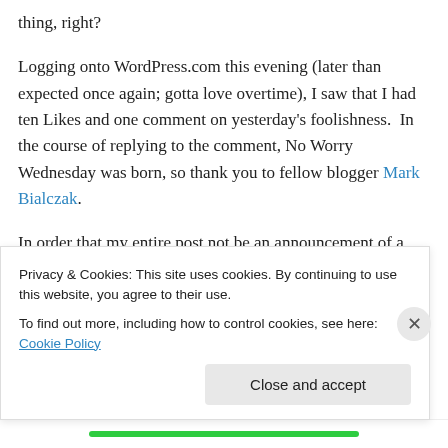thing, right?

Logging onto WordPress.com this evening (later than expected once again; gotta love overtime), I saw that I had ten Likes and one comment on yesterday's foolishness. In the course of replying to the comment, No Worry Wednesday was born, so thank you to fellow blogger Mark Bialczak.

In order that my entire post not be an announcement of a new day for me, I will share you a story about yesterday's
Privacy & Cookies: This site uses cookies. By continuing to use this website, you agree to their use.
To find out more, including how to control cookies, see here: Cookie Policy

Close and accept